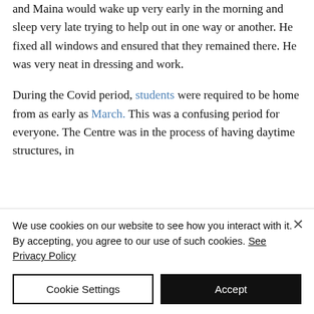and Maina would wake up very early in the morning and sleep very late trying to help out in one way or another. He fixed all windows and ensured that they remained there. He was very neat in dressing and work.
During the Covid period, students were required to be home from as early as March. This was a confusing period for everyone. The Centre was in the process of having daytime structures, in
We use cookies on our website to see how you interact with it. By accepting, you agree to our use of such cookies. See Privacy Policy